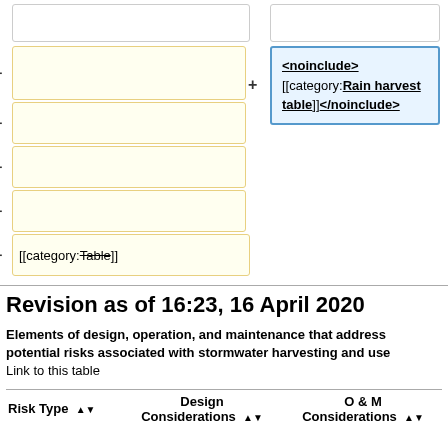[Figure (screenshot): Wikipedia diff editor interface showing two columns with yellow and white boxes for editing. Left column has empty white box at top, then several yellow boxes with minus buttons, including one with [[category:Table]] text. Right column has a blue-highlighted box with wiki markup: <noinclude>[[category:Rain harvest table]]</noinclude> with a plus button.]
Revision as of 16:23, 16 April 2020
Elements of design, operation, and maintenance that address potential risks associated with stormwater harvesting and use
Link to this table
| Risk Type | Design Considerations | O & M Considerations |
| --- | --- | --- |